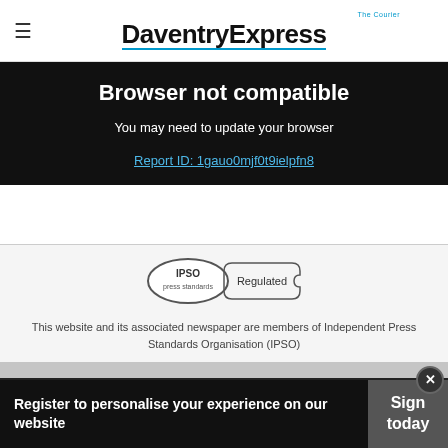DaventryExpress
Browser not compatible
You may need to update your browser
Report ID: 1gauo0mjf0t9ielpfn8
[Figure (logo): IPSO Regulated badge — oval logo with IPSO text and Regulated label]
This website and its associated newspaper are members of Independent Press Standards Organisation (IPSO)
Follow us on
Register to personalise your experience on our website
Sign today